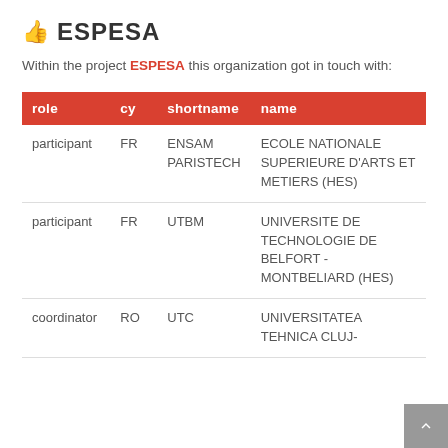ESPESA
Within the project ESPESA this organization got in touch with:
| role | cy | shortname | name |
| --- | --- | --- | --- |
| participant | FR | ENSAM PARISTECH | ECOLE NATIONALE SUPERIEURE D'ARTS ET METIERS (HES) |
| participant | FR | UTBM | UNIVERSITE DE TECHNOLOGIE DE BELFORT - MONTBELIARD (HES) |
| coordinator | RO | UTC | UNIVERSITATEA TEHNICA CLUJ- |